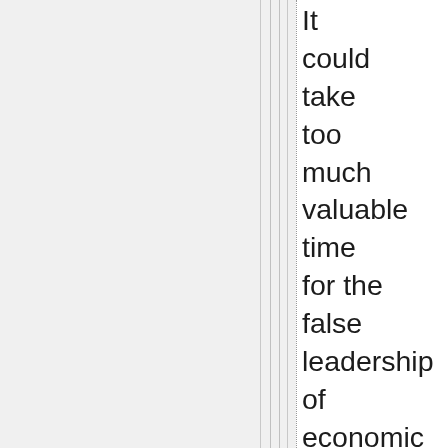It could take too much valuable time for the false leadership of economic growth and exploitation, i.e., the dominant voices of capitalist society, to unwed themselves